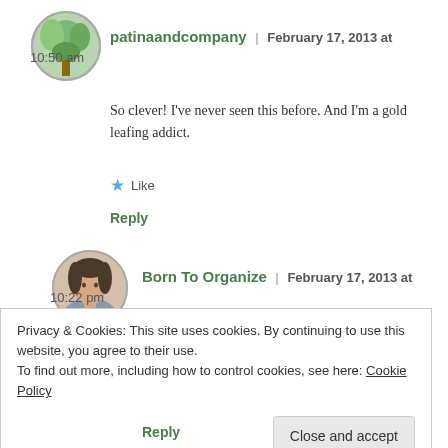[Figure (photo): Circular avatar photo of patinaandcompany user, showing green plant/leaves]
patinaandcompany | February 17, 2013 at 10:50 am
So clever! I've never seen this before. And I'm a gold leafing addict.
★ Like
Reply
[Figure (photo): Circular avatar photo of Born To Organize user, showing a woman]
Born To Organize | February 17, 2013 at 10:22 pm
Privacy & Cookies: This site uses cookies. By continuing to use this website, you agree to their use.
To find out more, including how to control cookies, see here: Cookie Policy
Close and accept
Reply